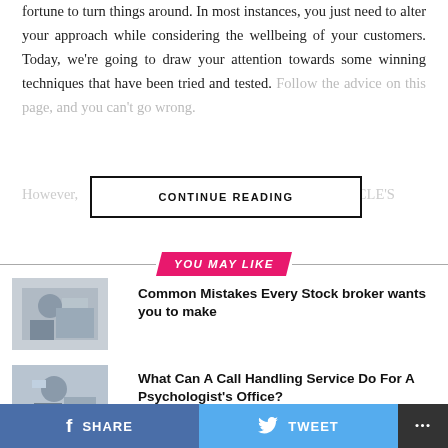fortune to turn things around. In most instances, you just need to alter your approach while considering the wellbeing of your customers. Today, we're going to draw your attention towards some winning techniques that have been tried and tested. Follow the advice on this page, and you can't go wrong.
CONTINUE READING
YOU MAY LIKE
Common Mistakes Every Stock broker wants you to make
[Figure (photo): Person at desk talking on phone]
What Can A Call Handling Service Do For A Psychologist's Office?
[Figure (photo): Woman with headset at desk]
How to Keep your Customers Happy at Peak...
[Figure (photo): Partial photo of related article]
SHARE   TWEET